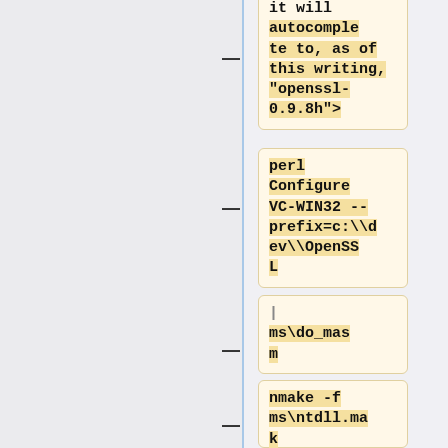it will autocomplete to, as of this writing, "openssl-0.9.8h">
perl Configure VC-WIN32 --prefix=c:\\dev\\OpenSSL
ms\do_masm
nmake -f ms\ntdll.mak
nmake -f ms\ntdll.mak install